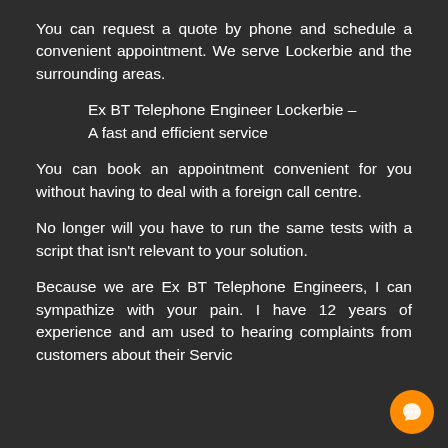You can request a quote by phone and schedule a convenient appointment. We serve Lockerbie and the surrounding areas.
Ex BT Telephone Engineer Lockerbie – A fast and efficient service
You can book an appointment convenient for you without having to deal with a foreign call centre.
No longer will you have to run the same tests with a script that isn't relevant to your solution.
Because we are Ex BT Telephone Engineers, I can sympathize with your pain. I have 12 years of experience and am used to hearing complaints from customers about their Service...